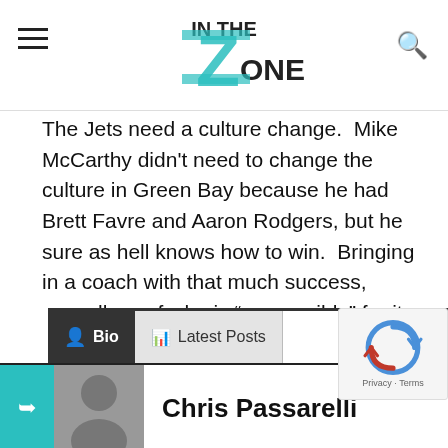In The Zone (logo)
The Jets need a culture change.  Mike McCarthy didn't need to change the culture in Green Bay because he had Brett Favre and Aaron Rodgers, but he sure as hell knows how to win.  Bringing in a coach with that much success, regardless of who is “responsible” for it is huge for a young quarterback like Sam Darnold.  With McCarthy, the sky is the limit.  Take it or leave it Jets fans, but the Jets are a much better team with Mike McCarthy at the helm.
Bio | Latest Posts
Chris Passarelli